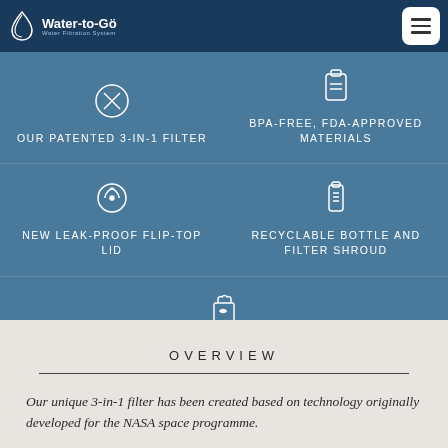Water-to-Go Water Filtration System
OUR PATENTED 3-IN-1 FILTER
BPA-FREE, FDA-APPROVED MATERIALS
NEW LEAK-PROOF FLIP-TOP LID
RECYCLABLE BOTTLE AND FILTER SHROUD
COMPOSTABLE FILTER
OVERVIEW
Our unique 3-in-1 filter has been created based on technology originally developed for the NASA space programme.